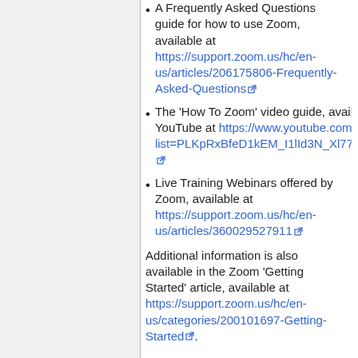A Frequently Asked Questions guide for how to use Zoom, available at https://support.zoom.us/hc/en-us/articles/206175806-Frequently-Asked-Questions
The 'How To Zoom' video guide, available on YouTube at https://www.youtube.com/playlist?list=PLKpRxBfeD1kEM_I1lId3N_Xl77fKDzSXe
Live Training Webinars offered by Zoom, available at https://support.zoom.us/hc/en-us/articles/360029527911
Additional information is also available in the Zoom 'Getting Started' article, available at https://support.zoom.us/hc/en-us/categories/200101697-Getting-Started.